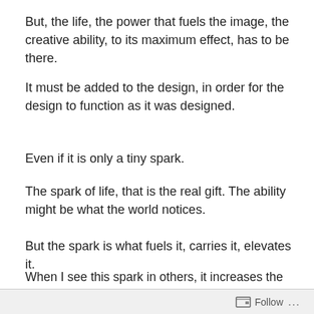But, the life, the power that fuels the image, the creative ability, to its maximum effect, has to be there.
It must be added to the design, in order for the design to function as it was designed.
Even if it is only a tiny spark.
The spark of life, that is the real gift. The ability might be what the world notices.
But the spark is what fuels it, carries it, elevates it.
When I see this spark in others, it increases the fire in me.
I am learning to look for that spark.
When I cannot see the spark, I just want to share some of
Follow ...